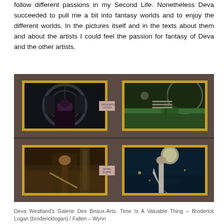follow different passions in my Second Life. Nonetheless Deva succeeded to pull me a bit into fantasy worlds and to enjoy the different worlds. In the pictures itself and in the texts about them and about the artists I could feel the passion for fantasy of Deva and the other artists.
[Figure (photo): Gallery view showing four framed artworks hung on a dark brown wall in two rows. Top left: a dark fantasy scene with a figure in purple amid clock imagery (black and white). Top right: a figure in a green outdoor setting in action pose. Bottom left: an armored fantasy warrior figure with a sword. Bottom right: a woman in white dress in a moonlit ethereal fantasy scene. Small label plaques appear on the right side of each row.]
Deva Westland's Galerie Des Beaux-Arts: Time Is A Valuable Thing – Broderick Logan (brodericklogan) / Fallen – Wynn